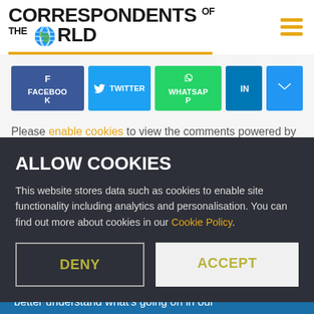[Figure (logo): Correspondents of the World logo with globe icon and hamburger menu icon]
[Figure (infographic): Social sharing buttons row: Facebook, Twitter, WhatsApp, LinkedIn, Email]
Please enable cookies to view the comments powered by Disqus.
ALLOW COOKIES
This website stores data such as cookies to enable site functionality including analytics and personalisation. You can find out more about cookies in our Cookie Policy.
DENY   ACCEPT
better understand what's going on in our